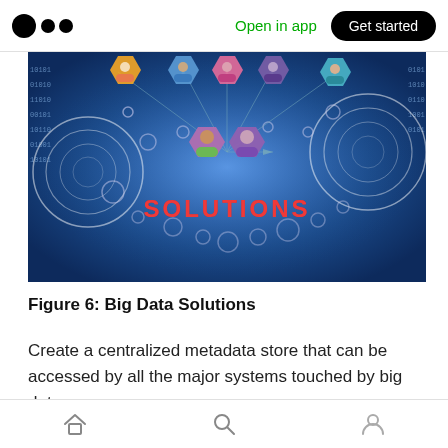Open in app | Get started
[Figure (illustration): Digital infographic showing interconnected person avatars in hexagonal icons over a glowing blue digital network background with binary data and circles. The word SOLUTIONS appears in red/orange text at the bottom center.]
Figure 6: Big Data Solutions
Create a centralized metadata store that can be accessed by all the major systems touched by big data
Well-managed metadata and well-managed big
Home | Search | Profile